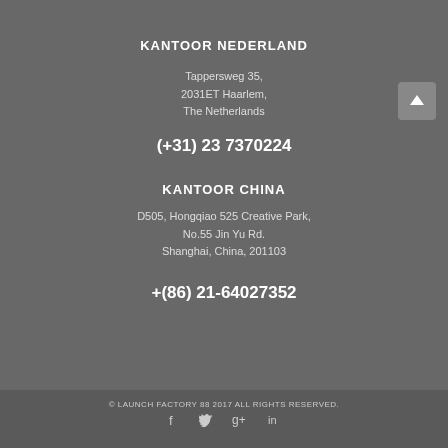KANTOOR NEDERLAND
Tappersweg 35,
2031ET Haarlem,
The Netherlands
(+31) 23 7370224
KANTOOR CHINA
D505, Hongqiao 525 Creative Park,
No.55 Jin Yu Rd.
Shanghai, China, 201103
+(86) 21-64027352
© LAUNCH FACTORY 88 2017 ALL RIGHTS RESERVED.